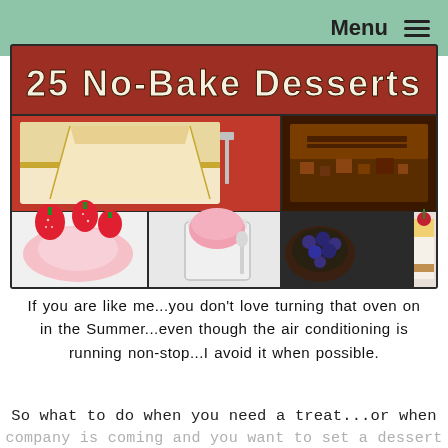Menu ≡
[Figure (photo): Collage of no-bake desserts: a title banner reading '25 No-Bake Desserts', with photos of chocolate bars, strawberries and cream, pink sorbet in a jar, blueberry chocolate tarts, and a cheesecake slice with cherry.]
If you are like me...you don't love turning that oven on in the Summer...even though the air conditioning is running non-stop...I avoid it when possible.
So what to do when you need a treat...or when
company is coming and you want to set a dessert